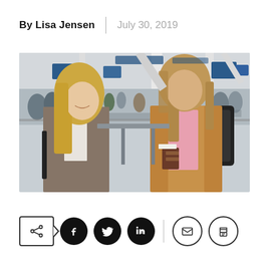By Lisa Jensen | July 30, 2019
[Figure (photo): Two people — a blonde woman in a blazer and a man with long hair in a pink shirt and tan jacket carrying a backpack and passport — face each other in a busy airport check-in area.]
[Figure (infographic): Social sharing toolbar with share button, Facebook, Twitter, LinkedIn icons (filled circles), a divider, and email and print icons (outlined circles).]